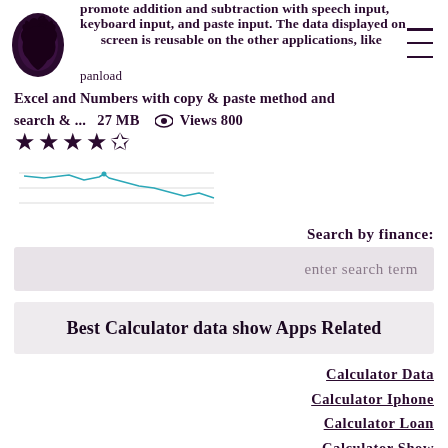promote addition and subtraction with speech input, keyboard input, and paste input. The data displayed on screen is reusable on the other applications, like Excel and Numbers with copy & paste method and search & ... 27 MB Views 800 panload
Excel and Numbers with copy & paste method and search & ...   27 MB   Views 800
[Figure (line-chart): Small line chart showing a downward trend, rendered in teal/cyan color]
Search by finance:
enter search term
Best Calculator data show Apps Related
Calculator Data
Calculator Iphone
Calculator Loan
Calculator Show